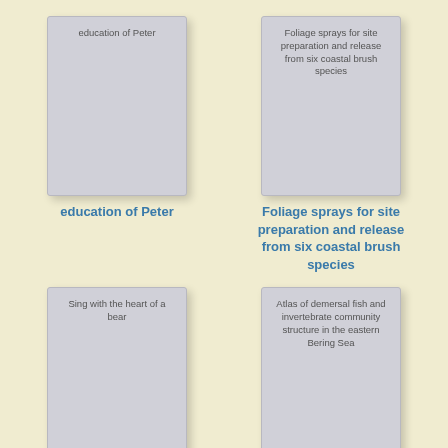[Figure (illustration): Book card placeholder showing title 'education of Peter']
education of Peter
[Figure (illustration): Book card placeholder showing title 'Foliage sprays for site preparation and release from six coastal brush species']
Foliage sprays for site preparation and release from six coastal brush species
[Figure (illustration): Book card placeholder showing title 'Sing with the heart of a bear']
[Figure (illustration): Book card placeholder showing title 'Atlas of demersal fish and invertebrate community structure in the eastern Bering Sea']